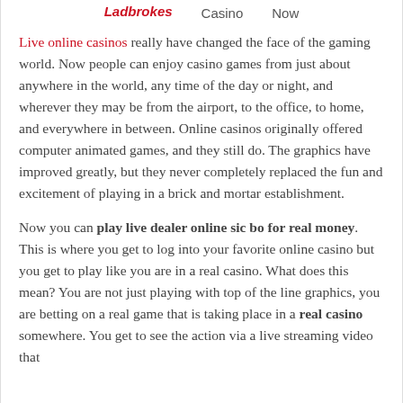Ladbrokes | Casino | Play Now
Live online casinos really have changed the face of the gaming world. Now people can enjoy casino games from just about anywhere in the world, any time of the day or night, and wherever they may be from the airport, to the office, to home, and everywhere in between. Online casinos originally offered computer animated games, and they still do. The graphics have improved greatly, but they never completely replaced the fun and excitement of playing in a brick and mortar establishment.
Now you can play live dealer online sic bo for real money. This is where you get to log into your favorite online casino but you get to play like you are in a real casino. What does this mean? You are not just playing with top of the line graphics, you are betting on a real game that is taking place in a real casino somewhere. You get to see the action via a live streaming video that